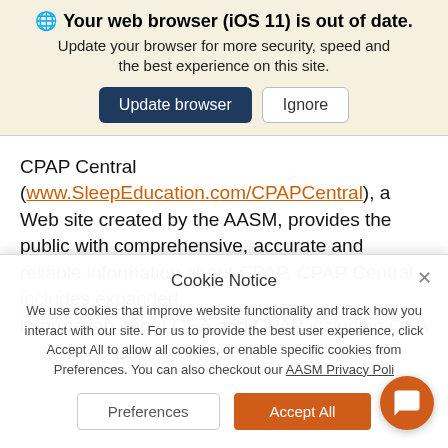Your web browser (iOS 11) is out of date.
Update your browser for more security, speed and the best experience on this site.
CPAP Central (www.SleepEducation.com/CPAPCentral), a Web site created by the AASM, provides the public with comprehensive, accurate and reliable information about CPAP. CPAP Central includes expanded information about OSA and CPAP including OSA ...
Cookie Notice
We use cookies that improve website functionality and track how you interact with our site. For us to provide the best user experience, click Accept All to allow all cookies, or enable specific cookies from Preferences. You can also checkout our AASM Privacy Poli...